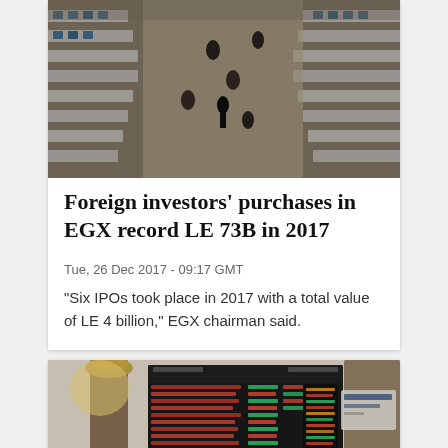[Figure (photo): Aerial view of a busy stock exchange trading floor with rows of desks and people working at computers]
Foreign investors' purchases in EGX record LE 73B in 2017
Tue, 26 Dec 2017 - 09:17 GMT
"Six IPOs took place in 2017 with a total value of LE 4 billion," EGX chairman said.
[Figure (photo): Interior of the Egyptian Exchange (EGX) building showing stock ticker boards with red and green price displays, ornate marble columns]